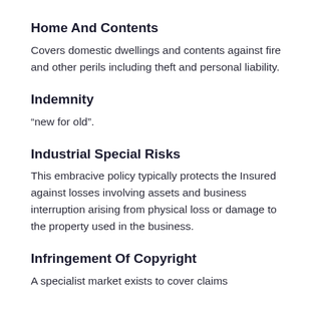Home And Contents
Covers domestic dwellings and contents against fire and other perils including theft and personal liability.
Indemnity
“new for old”.
Industrial Special Risks
This embracive policy typically protects the Insured against losses involving assets and business interruption arising from physical loss or damage to the property used in the business.
Infringement Of Copyright
A specialist market exists to cover claims